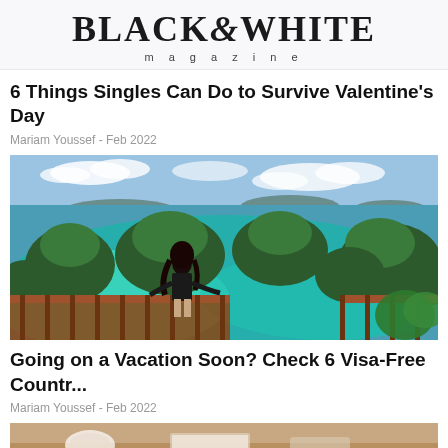BLACK&WHITE magazine
6 Things Singles Can Do to Survive Valentine's Day
Mariam Youssef - Feb 2022
[Figure (photo): Woman in black dress standing on a wooden viewpoint deck overlooking turquoise lagoon waters and green tropical islands under a blue sky]
Going on a Vacation Soon? Check 6 Visa-Free Countr...
Mariam Youssef - Feb 2022
[Figure (photo): Partial view of a warm-toned interior scene, cropped at bottom of page]